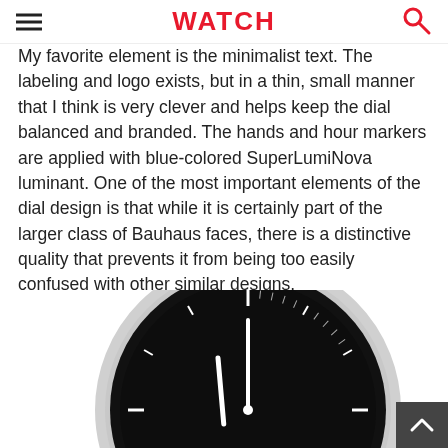WATCH
My favorite element is the minimalist text. The labeling and logo exists, but in a thin, small manner that I think is very clever and helps keep the dial balanced and branded. The hands and hour markers are applied with blue-colored SuperLumiNova luminant. One of the most important elements of the dial design is that while it is certainly part of the larger class of Bauhaus faces, there is a distinctive quality that prevents it from being too easily confused with other similar designs.
[Figure (photo): A close-up photograph of a minimalist watch with a black dial, silver case, and black leather strap, shown from a slightly top-down angle. The watch has white hour markers and hands on a stark black dial.]